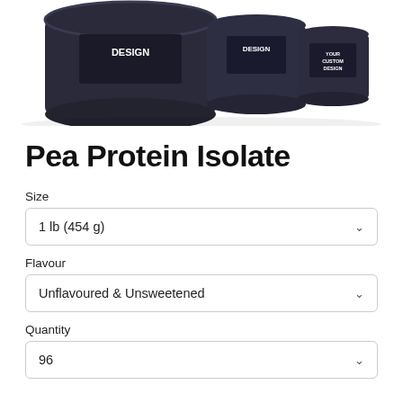[Figure (photo): Product photo showing dark protein powder containers/bottles with 'DESIGN' and 'YOUR CUSTOM DESIGN' text on labels, photographed from above at an angle against a white background.]
Pea Protein Isolate
Size
1 lb (454 g)
Flavour
Unflavoured & Unsweetened
Quantity
96